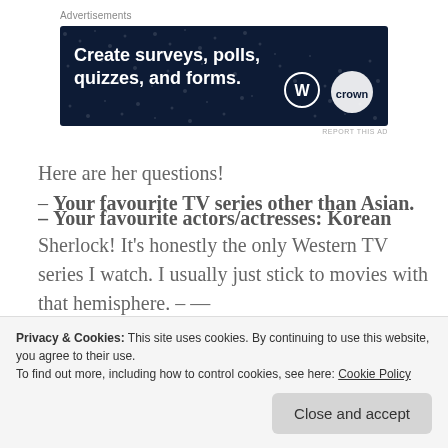Advertisements
[Figure (other): Advertisement banner: dark navy background with white text reading 'Create surveys, polls, quizzes, and forms.' with WordPress and SurveyMonkey logos]
REPORT THIS AD
Here are her questions!
– Your favourite TV series other than Asian.
Sherlock! It's honestly the only Western TV series I watch. I usually just stick to movies with that hemisphere. – —
– Your favourite actors/actresses: Korean and
Privacy & Cookies: This site uses cookies. By continuing to use this website, you agree to their use.
To find out more, including how to control cookies, see here: Cookie Policy
Close and accept
Soeun, Lee Junki, Shin Minah, Kang Sora, Park